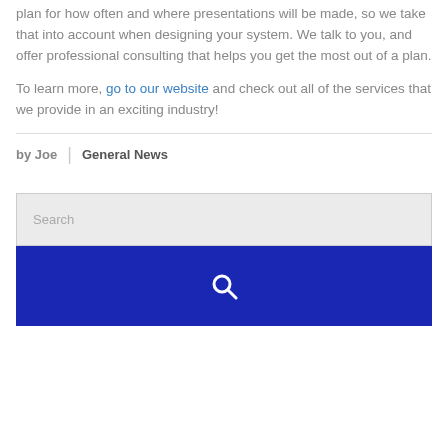plan for how often and where presentations will be made, so we take that into account when designing your system. We talk to you, and offer professional consulting that helps you get the most out of a plan.
To learn more, go to our website and check out all of the services that we provide in an exciting industry!
by Joe | General News
Search